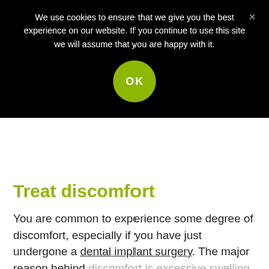We use cookies to ensure that we give you the best experience on our website. If you continue to use this site we will assume that you are happy with it.
OK
Treat discomfort
You are common to experience some degree of discomfort, especially if you have just undergone a dental implant surgery. The major reason behind discomfort is excessive swelling and pain. But that's a common effect after dental